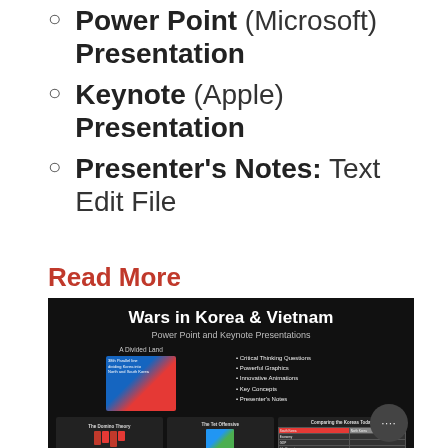Power Point (Microsoft) Presentation
Keynote (Apple) Presentation
Presenter's Notes: Text Edit File
Read More
[Figure (screenshot): Screenshot of a PowerPoint/Keynote presentation titled 'Wars in Korea & Vietnam' showing slide previews with maps, bullet points about Critical Thinking Questions, Powerful Graphics, Innovative Animations, Key Concepts, Presenter's Notes, and mini slides for The Domino Theory, The Tet Offensive, and Comparing the Koreas Today.]